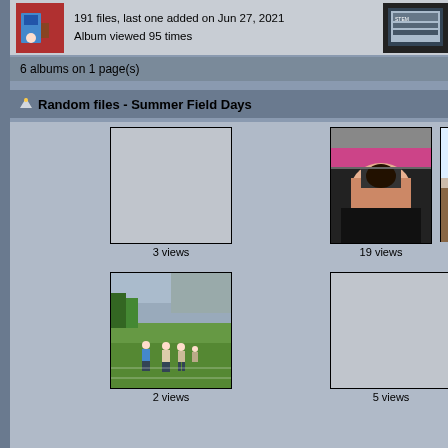[Figure (photo): Album thumbnail showing person in blue shirt near red equipment]
191 files, last one added on Jun 27, 2021
Album viewed 95 times
[Figure (screenshot): Partial right-side album thumbnail showing screen/monitor]
6 albums on 1 page(s)
Random files - Summer Field Days
[Figure (photo): Empty/placeholder photo box (gray)]
3 views
[Figure (photo): Person photographed from behind in a vehicle, holding camera equipment]
19 views
[Figure (photo): Partial right-side photo of person in room]
[Figure (photo): People playing on a grass field, outdoor sports activity]
2 views
[Figure (photo): Empty/placeholder photo box (gray)]
5 views
[Figure (photo): Partial right-side photo showing indoor scene with objects on table]